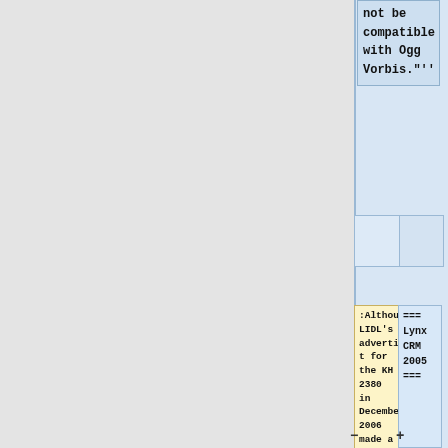not be compatible with Ogg Vorbis."''
:Although LIDL's advertisement for the KH 2380 in December 2006 made a show of its Vorbis support, this is not mentioned in the manual, or any accompanying
=== Lynx CRM 2005 ===